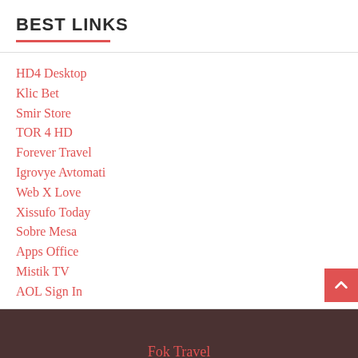BEST LINKS
HD4 Desktop
Klic Bet
Smir Store
TOR 4 HD
Forever Travel
Igrovye Avtomati
Web X Love
Xissufo Today
Sobre Mesa
Apps Office
Mistik TV
AOL Sign In
Fok Travel